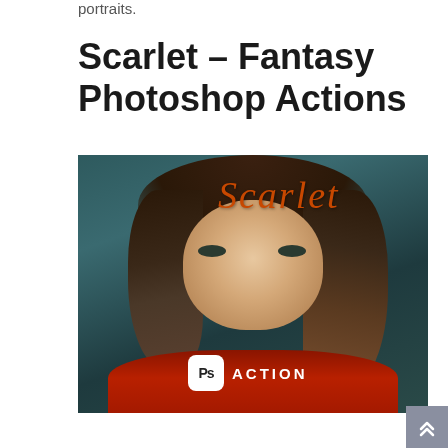portraits.
Scarlet – Fantasy Photoshop Actions
[Figure (photo): Portrait photo of a young woman with brown hair and bangs wearing a red top, with the word 'Scarlet' written in orange cursive across the upper portion, and a Photoshop 'Ps ACTION' badge at the bottom center.]
[Figure (other): Gray scroll-to-top button with double upward chevron arrows in the bottom right corner.]